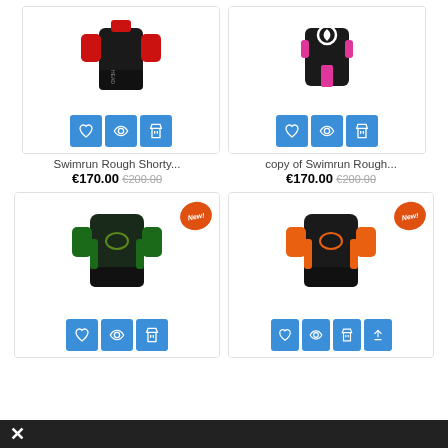[Figure (photo): Product photo of Swimrun Rough Shorty wetsuit in black with red accents, showing action buttons below]
Swimrun Rough Shorty...
€170.00  €200.00
[Figure (photo): Product photo of copy of Swimrun Rough wetsuit in black with pink accents, showing action buttons below]
copy of Swimrun Rough...
€170.00  €200.00
[Figure (photo): Product photo of wetsuit in black with green accents, New badge, showing action buttons below]
[Figure (photo): Product photo of wetsuit in black with orange accents, New badge, showing action buttons below]